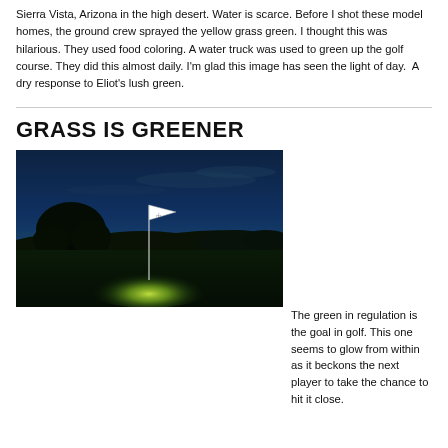Sierra Vista, Arizona in the high desert. Water is scarce. Before I shot these model homes, the ground crew sprayed the yellow grass green. I thought this was hilarious. They used food coloring. A water truck was used to green up the golf course. They did this almost daily. I'm glad this image has seen the light of day.  A dry response to Eliot's lush green.
GRASS IS GREENER
[Figure (photo): A twilight photograph of a golf course green with a flag/pin in the center. The sky is deep blue and dramatic. Trees silhouetted on the left and low hills in the background. The putting green glows with a yellow-green light from below or within, creating a spotlight effect against the dark surroundings.]
The green in regulation is the goal in golf. This one seems to glow from within as it beckons the next player to take the chance to hit it close.